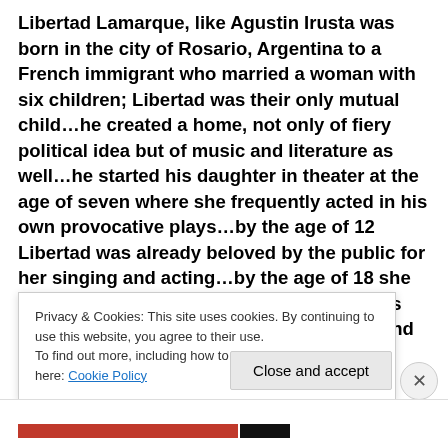Libertad Lamarque, like Agustin Irusta was born in the city of Rosario, Argentina to a French immigrant who married a woman with six children; Libertad was their only mutual child…he created a home, not only of fiery political idea but of music and literature as well…he started his daughter in theater at the age of seven where she frequently acted in his own provocative plays…by the age of 12 Libertad was already beloved by the public for her singing and acting…by the age of 18 she had attained fame as a professional actress and singer, had given birth to a daughter and was in
Privacy & Cookies: This site uses cookies. By continuing to use this website, you agree to their use.
To find out more, including how to control cookies, see here: Cookie Policy
Close and accept